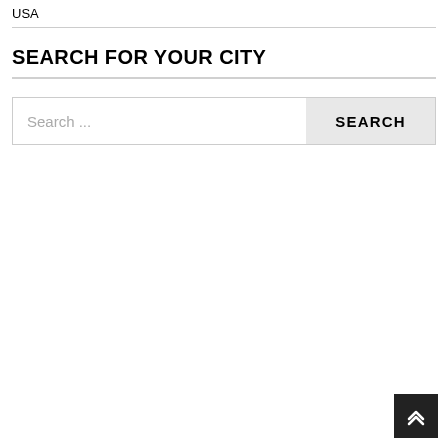USA
SEARCH FOR YOUR CITY
[Figure (screenshot): Search input field with placeholder text 'Search ...' and a SEARCH button]